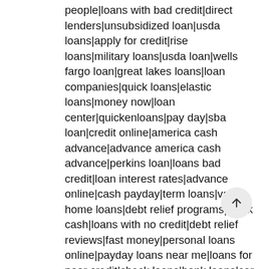people|loans with bad credit|direct lenders|unsubsidized loan|usda loans|apply for credit|rise loans|military loans|usda loan|wells fargo loan|great lakes loans|loan companies|quick loans|elastic loans|money now|loan center|quickenloans|pay day|sba loan|credit online|america cash advance|advance america cash advance|perkins loan|loans bad credit|loan interest rates|advance online|cash payday|term loans|va home loans|debt relief programs|quick cash|loans with no credit|debt relief reviews|fast money|personal loans online|payday loans near me|loans for poor credit|check loans|bank loans|car title loans|credit check loans|cash loan|no credit check loans|loans personal|need money|easy money|advance loans|money mutual|loans with no credit check|loans for debt consolidation|loan with bad credit|title loans near me|loan refinance|short term loans|loanme|money loans|unsecured credit|how to get money|online